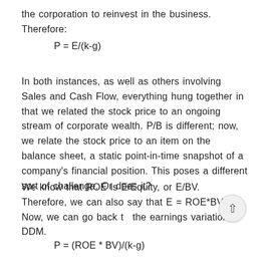the corporation to reinvest in the business. Therefore:
In both instances, as well as others involving Sales and Cash Flow, everything hung together in that we related the stock price to an ongoing stream of corporate wealth. P/B is different; now, we relate the stock price to an item on the balance sheet, a static point-in-time snapshot of a company's financial position. This poses a different sort of challenge. Or does it?
We know that ROE is E/Equity, or E/BV. Therefore, we can also say that E = ROE*BV. Now, we can go back to the earnings variation of DDM.